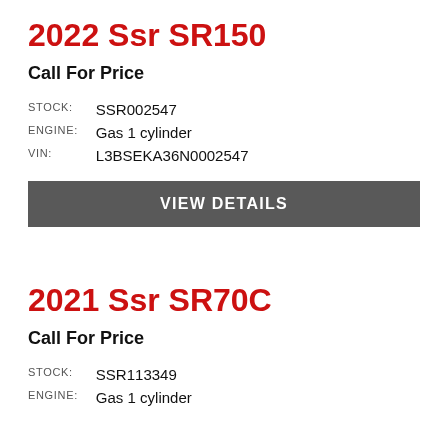2022 Ssr SR150
Call For Price
| STOCK: | SSR002547 |
| ENGINE: | Gas 1 cylinder |
| VIN: | L3BSEKA36N0002547 |
VIEW DETAILS
2021 Ssr SR70C
Call For Price
| STOCK: | SSR113349 |
| ENGINE: | Gas 1 cylinder |